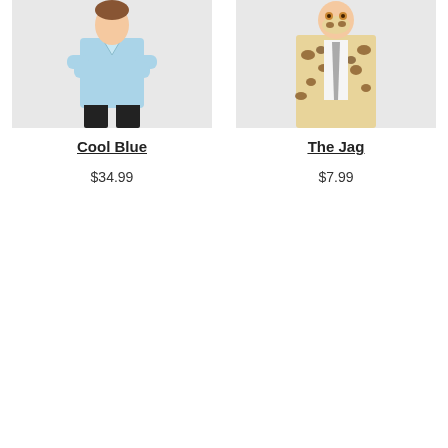[Figure (photo): Person wearing a light blue shirt and black pants, arms crossed, standing pose — product photo for 'Cool Blue']
Cool Blue
$34.99
[Figure (photo): Person wearing a leopard print suit jacket and tie with a mask on face — product photo for 'The Jag']
The Jag
$7.99